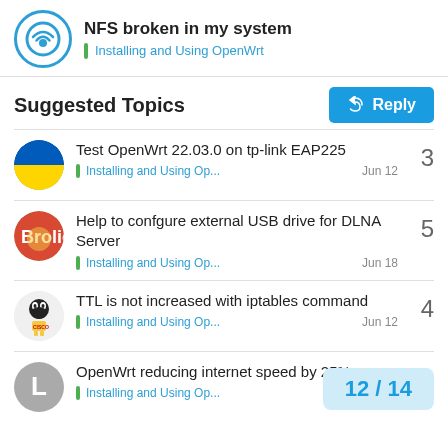NFS broken in my system — Installing and Using OpenWrt
Suggested Topics
Test OpenWrt 22.03.0 on tp-link EAP225 — Installing and Using Op... — Jun 12 — 3
Help to confgure external USB drive for DLNA Server — Installing and Using Op... — Jun 18 — 5
TTL is not increased with iptables command — Installing and Using Op... — Jun 12 — 4
OpenWrt reducing internet speed by 25% — Installing and Using Op... — 6
12 / 14